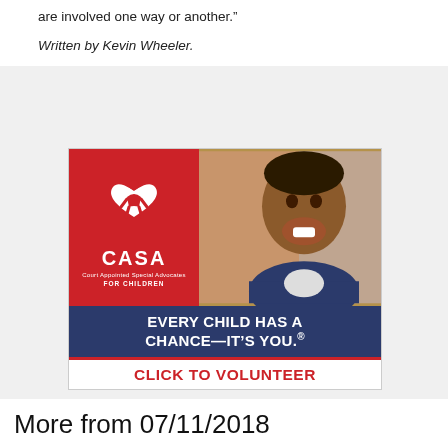are involved one way or another.”
Written by Kevin Wheeler.
[Figure (infographic): CASA (Court Appointed Special Advocates for Children) advertisement. Red top section with CASA logo (heart with figure icon) on the left and a smiling child on the right. Dark blue middle section with text: EVERY CHILD HAS A CHANCE—IT’S YOU.® White bottom section with red text: CLICK TO VOLUNTEER]
More from 07/11/2018